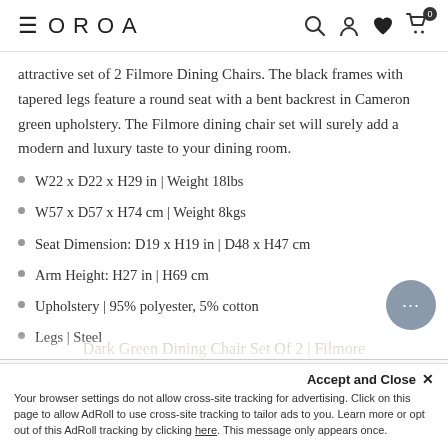OROA
attractive set of 2 Filmore Dining Chairs. The black frames with tapered legs feature a round seat with a bent backrest in Cameron green upholstery. The Filmore dining chair set will surely add a modern and luxury taste to your dining room.
W22 x D22 x H29 in | Weight 18lbs
W57 x D57 x H74 cm | Weight 8kgs
Seat Dimension: D19 x H19 in | D48 x H47 cm
Arm Height: H27 in | H69 cm
Upholstery | 95% polyester, 5% cotton
Legs | Steel
Download Specification Sheet
Dark Green Dining Chair Set Of 2 | Filmore
Accept and Close ×
Your browser settings do not allow cross-site tracking for advertising. Click on this page to allow AdRoll to use cross-site tracking to tailor ads to you. Learn more or opt out of this AdRoll tracking by clicking here. This message only appears once.